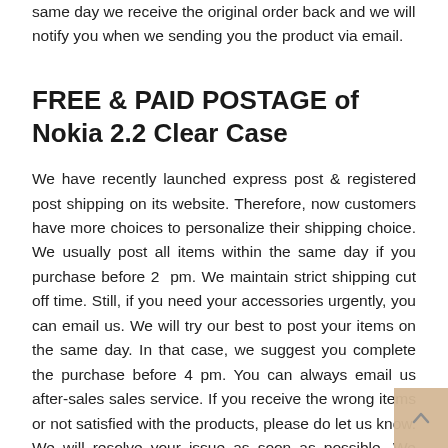same day we receive the original order back and we will notify you when we sending you the product via email.
FREE & PAID POSTAGE of Nokia 2.2 Clear Case
We have recently launched express post & registered post shipping on its website. Therefore, now customers have more choices to personalize their shipping choice. We usually post all items within the same day if you purchase before 2 pm. We maintain strict shipping cut off time. Still, if you need your accessories urgently, you can email us. We will try our best to post your items on the same day. In that case, we suggest you complete the purchase before 4 pm. You can always email us after-sales sales service. If you receive the wrong items or not satisfied with the products, please do let us know. We will resolve your issue as soon as possible. We recommend you to keep the original envelope. Just in case if you need to return or exchange